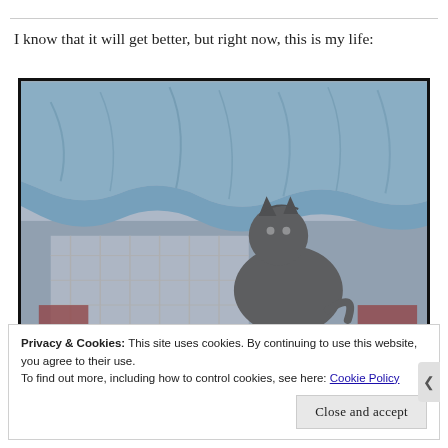I know that it will get better, but right now, this is my life:
[Figure (photo): A cat lifting up a blue blanket/towel draped over a surface, appearing to crawl underneath it. The background shows a snowy or wintry outdoor scene.]
Privacy & Cookies: This site uses cookies. By continuing to use this website, you agree to their use.
To find out more, including how to control cookies, see here: Cookie Policy
Close and accept